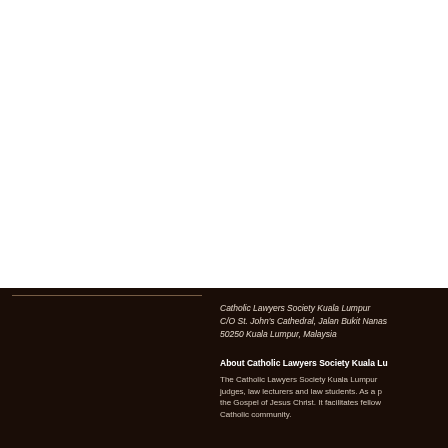Catholic Lawyers Society Kuala Lumpur
C/O St. John's Cathedral, Jalan Bukit Nanas
50250 Kuala Lumpur, Malaysia
About Catholic Lawyers Society Kuala Lumpur
The Catholic Lawyers Society Kuala Lumpur judges, law lecturers and law students. As a the Gospel of Jesus Christ. It facilitates fellow Catholic community.